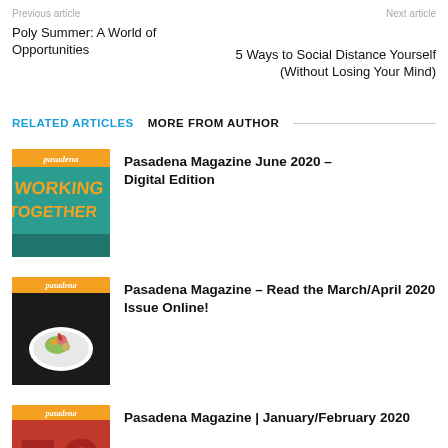Previous article
Next article
Poly Summer: A World of Opportunities
5 Ways to Social Distance Yourself (Without Losing Your Mind)
RELATED ARTICLES   MORE FROM AUTHOR
[Figure (illustration): Pasadena Magazine cover – Working Together, June 2020]
Pasadena Magazine June 2020 – Digital Edition
[Figure (photo): Pasadena Magazine cover – March/April 2020, food photo]
Pasadena Magazine – Read the March/April 2020 Issue Online!
[Figure (illustration): Pasadena Magazine cover – January/February 2020, The Influential Fifty]
Pasadena Magazine | January/February 2020